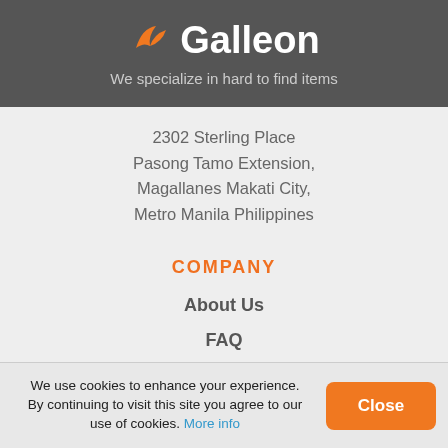Galleon — We specialize in hard to find items
2302 Sterling Place
Pasong Tamo Extension,
Magallanes Makati City,
Metro Manila Philippines
COMPANY
About Us
FAQ
Privacy Policy
Terms & Conditions
We use cookies to enhance your experience. By continuing to visit this site you agree to our use of cookies. More info